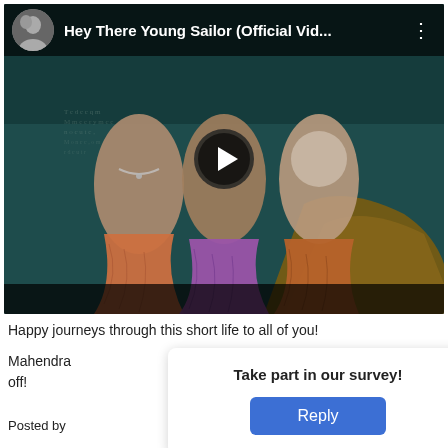[Figure (screenshot): YouTube-style video thumbnail showing three women dressed as mermaids with colorful fish tails (orange, purple, orange) sitting on rocks against a teal/dark ocean background. Video title bar at top reads 'Hey There Young Sailor (Official Vid...' with a group avatar photo. A play button triangle is centered on the video. A black bottom bar is visible.]
Happy journeys through this short life to all of you!
Mahendra ... signing off!
[Figure (screenshot): A survey popup overlay with title 'Take part in our survey!' and a blue 'Reply' button. A dropdown arrow button is visible to the upper right.]
Posted by ... as ,